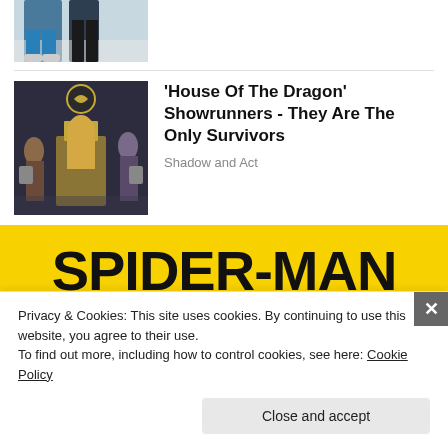[Figure (photo): Partial view of two people in casual clothes, cropped at top of page]
[Figure (photo): Cast photo from 'House Of The Dragon' showing characters on throne]
'House Of The Dragon' Showrunners - They Are The Only Survivors
Shadow and Act
[Figure (other): Spider-Man branded banner with yellow background, bold SPIDER-MAN title text and subtitle: HERO, CITY, BIO, BRAWLER, SPIDER-VERSE, WEB-WARRIOR, with colorful comic-style bottom strip]
Privacy & Cookies: This site uses cookies. By continuing to use this website, you agree to their use.
To find out more, including how to control cookies, see here: Cookie Policy
Close and accept